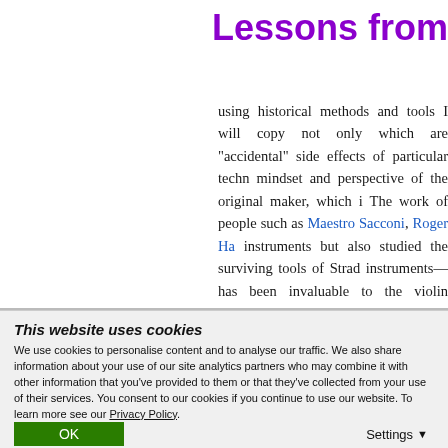Lessons from
using historical methods and tools I will copy not only which are “accidental” side effects of particular techn mindset and perspective of the original maker, which i The work of people such as Maestro Sacconi, Roger Ha instruments but also studied the surviving tools of Strad instruments—has been invaluable to the violin making c
And lastly, an important caveat. While I am trying to m with a different piece of wood that has different physica historical baroque set-up in ways both small and large (
This website uses cookies
We use cookies to personalise content and to analyse our traffic. We also share information about your use of our site analytics partners who may combine it with other information that you’ve provided to them or that they’ve collected from your use of their services. You consent to our cookies if you continue to use our website. To learn more see our Privacy Policy.
OK
Settings